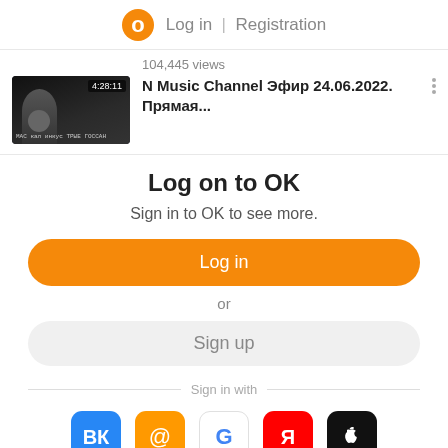Log in | Registration
104,445 views
N Music Channel Эфир 24.06.2022. Прямая...
Log on to OK
Sign in to OK to see more.
Log in
or
Sign up
Sign in with
[Figure (screenshot): Social login icons: VK (blue), Mail (orange @), Google (G), Yandex (Я), Apple (black apple)]